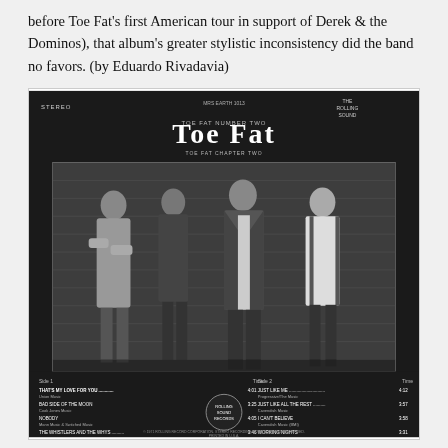before Toe Fat's first American tour in support of Derek & the Dominos), that album's greater stylistic inconsistency did the band no favors. (by Eduardo Rivadavia)
[Figure (photo): Back cover of Toe Fat's album showing four band members standing against a brick wall in a black and white photograph. The album cover shows 'Toe Fat' in large decorative lettering at the top, with track listings on the bottom portion of the cover. Labels show STEREO on the left and 'THE ROLLING STONE' on the right corner.]